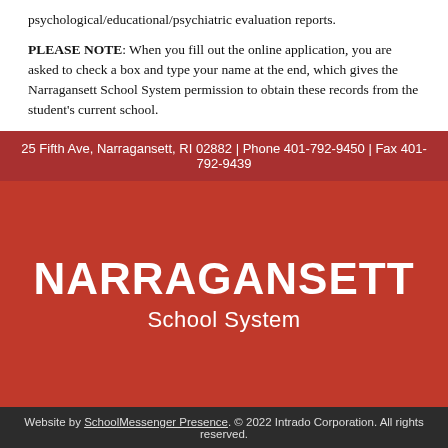psychological/educational/psychiatric evaluation reports.
PLEASE NOTE: When you fill out the online application, you are asked to check a box and type your name at the end, which gives the Narragansett School System permission to obtain these records from the student's current school.
25 Fifth Ave, Narragansett, RI 02882 | Phone 401-792-9450 | Fax 401-792-9439
NARRAGANSETT School System
Website by SchoolMessenger Presence. © 2022 Intrado Corporation. All rights reserved.